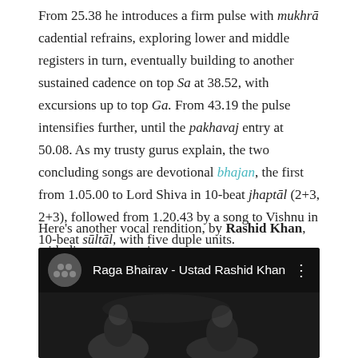From 25.38 he introduces a firm pulse with mukhrā cadential refrains, exploring lower and middle registers in turn, eventually building to another sustained cadence on top Sa at 38.52, with excursions up to top Ga. From 43.19 the pulse intensifies further, until the pakhavaj entry at 50.08. As my trusty gurus explain, the two concluding songs are devotional bhajan, the first from 1.05.00 to Lord Shiva in 10-beat jhaptāl (2+3, 2+3), followed from 1.20.43 by a song to Vishnu in 10-beat sūltāl, with five duple units.
Here's another vocal rendition, by Rashid Khan, with discreet sarangi:
[Figure (screenshot): YouTube video thumbnail for 'Raga Bhairav - Ustad Rashid Khan' showing a dark header with channel icon, video title text, and a black and white preview of performers.]